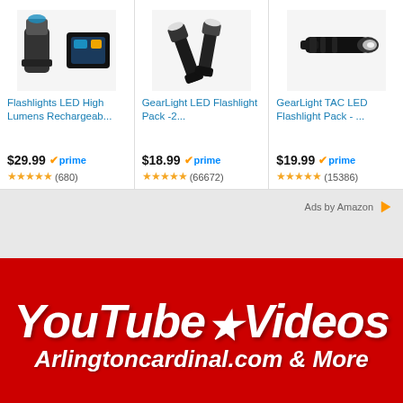[Figure (screenshot): Amazon advertisement panel showing three flashlight products with prices and ratings]
Ads by Amazon
[Figure (illustration): YouTube Videos Arlingtoncardinal.com & More banner on red background]
Arlingtoncards Cardinal Emergencies Fatal crash with Des Plaines River levee wall at Milwaukee